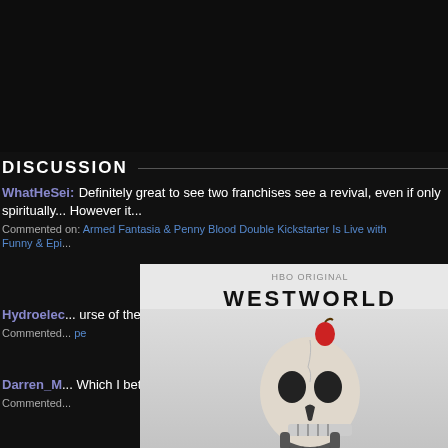[Figure (screenshot): Dark top area - black background, part of a webpage]
DISCUSSION
WhatHeSei: Definitely great to see two franchises see a revival, even if only spiritually... However it...
Commented on: Armed Fantasia & Penny Blood Double Kickstarter Is Live with Funny & Epi...
[Figure (screenshot): Westworld HBO advertisement with skull imagery on left, HBO Max purple ad on right, e+ badge overlay]
Hydroelec... urse of the Black ...
Commented... pe
Darren_M... Which I bet you my le...
Commented...